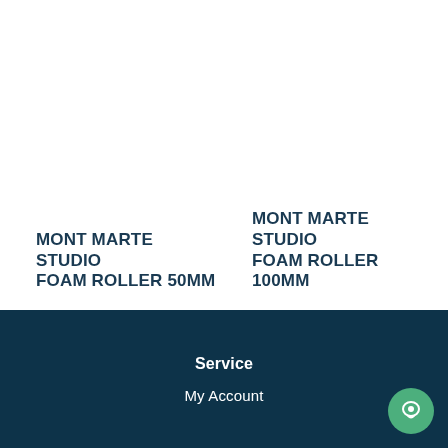MONT MARTE STUDIO FOAM ROLLER 50MM
MONT MARTE STUDIO FOAM ROLLER 100MM
Service
My Account